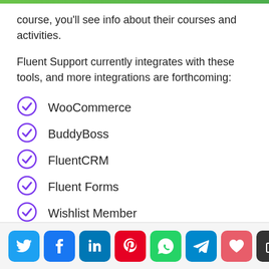course, you'll see info about their courses and activities.
Fluent Support currently integrates with these tools, and more integrations are forthcoming:
WooCommerce
BuddyBoss
FluentCRM
Fluent Forms
Wishlist Member
Membership Pro
Social share buttons: Twitter, Facebook, LinkedIn, Pinterest, WhatsApp, Telegram, Heart, Copy | 0 Shares